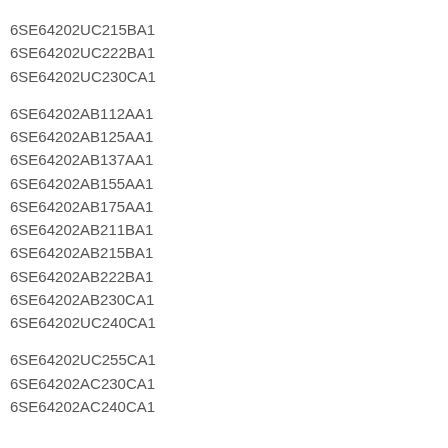6SE64202UC215BA1
6SE64202UC222BA1
6SE64202UC230CA1
6SE64202AB112AA1
6SE64202AB125AA1
6SE64202AB137AA1
6SE64202AB155AA1
6SE64202AB175AA1
6SE64202AB211BA1
6SE64202AB215BA1
6SE64202AB222BA1
6SE64202AB230CA1
6SE64202UC240CA1
6SE64202UC255CA1
6SE64202AC230CA1
6SE64202AC240CA1